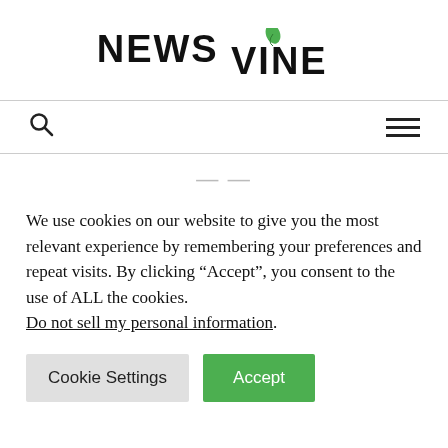[Figure (logo): NEWS VINE logo with a green leaf above the letter I in VINE]
Search icon and hamburger menu icon in navigation bar
We use cookies on our website to give you the most relevant experience by remembering your preferences and repeat visits. By clicking “Accept”, you consent to the use of ALL the cookies. Do not sell my personal information.
Cookie Settings | Accept